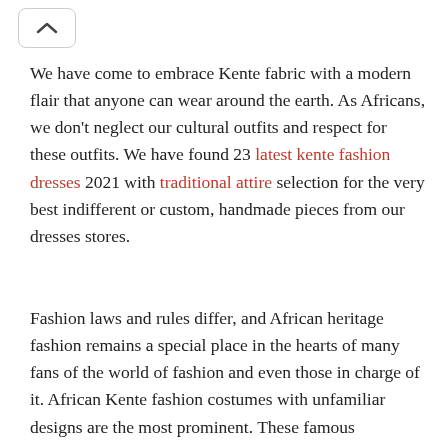[Figure (other): Navigation chevron/up-arrow button in a rounded rectangle border]
We have come to embrace Kente fabric with a modern flair that anyone can wear around the earth. As Africans, we don't neglect our cultural outfits and respect for these outfits. We have found 23 latest kente fashion dresses 2021 with traditional attire selection for the very best indifferent or custom, handmade pieces from our dresses stores.
Fashion laws and rules differ, and African heritage fashion remains a special place in the hearts of many fans of the world of fashion and even those in charge of it. African Kente fashion costumes with unfamiliar designs are the most prominent. These famous traditional clothes have been able to catch the eyes and hearts of the whole world.